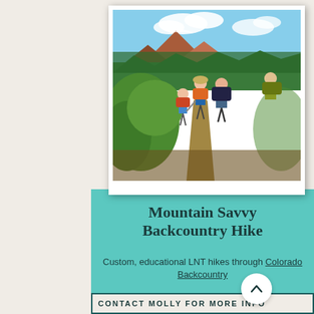[Figure (photo): Group of hikers with backpacks walking along a mountain trail surrounded by green vegetation, with mountains and blue sky visible in the background. Photo is displayed in a white card/frame.]
Mountain Savvy Backcountry Hike
Custom, educational LNT hikes through Colorado Backcountry
CONTACT MOLLY FOR MORE INFO